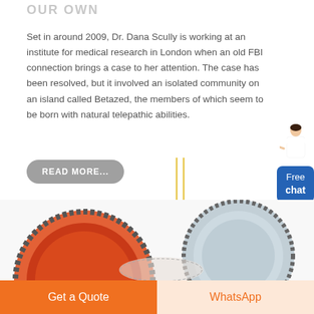OUR OWN
Set in around 2009, Dr. Dana Scully is working at an institute for medical research in London when an old FBI connection brings a case to her attention. The case has been resolved, but it involved an isolated community on an island called Betazed, the members of which seem to be born with natural telepathic abilities.
READ MORE...
[Figure (illustration): Two vertical yellow divider lines]
[Figure (illustration): Free chat widget with customer service person figure and blue button labeled 'Free chat']
[Figure (photo): Close-up photo of mechanical gears, red and grey colored]
Get a Quote
WhatsApp